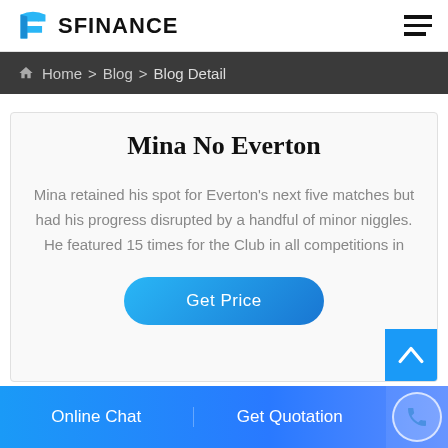SFINANCE
Home > Blog > Blog Detail
Mina No Everton
Mina retained his spot for Everton's next five matches but had his progress disrupted by a handful of minor niggles. He featured 15 times for the Club in all competitions in
Get Price
Online Chat   Get Quotation